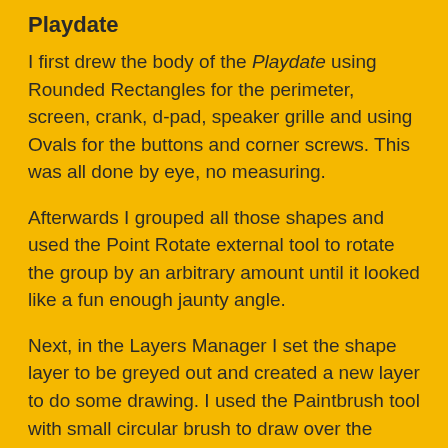Playdate
I first drew the body of the Playdate using Rounded Rectangles for the perimeter, screen, crank, d-pad, speaker grille and using Ovals for the buttons and corner screws. This was all done by eye, no measuring.
Afterwards I grouped all those shapes and used the Point Rotate external tool to rotate the group by an arbitrary amount until it looked like a fun enough jaunty angle.
Next, in the Layers Manager I set the shape layer to be greyed out and created a new layer to do some drawing. I used the Paintbrush tool with small circular brush to draw over the shapes by hand, erasing any mistakes and redrawing some sections of lines until I was happy.
Colouring
Given the nature of 1-bit there is no concept of colour…